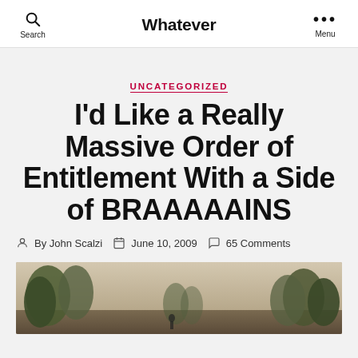Whatever — Search | Menu
UNCATEGORIZED
I’d Like a Really Massive Order of Entitlement With a Side of BRAAAAAINS
By John Scalzi   June 10, 2009   65 Comments
[Figure (photo): Outdoor landscape photo showing trees against a light sky]